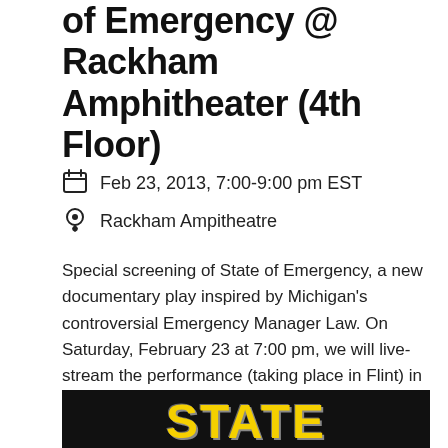of Emergency @ Rackham Amphitheater (4th Floor)
Feb 23, 2013, 7:00-9:00 pm EST
Rackham Ampitheatre
Special screening of State of Emergency, a new documentary play inspired by Michigan's controversial Emergency Manager Law. On Saturday, February 23 at 7:00 pm, we will live-stream the performance (taking place in Flint) in Rackham's 4th floor amphitheatre.
[Figure (photo): Partial view of promotional image for 'State of Emergency' with large yellow distressed text on black background showing 'STATE']